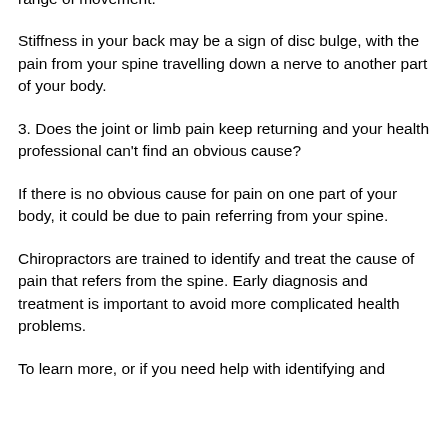range of movement.
Stiffness in your back may be a sign of disc bulge, with the pain from your spine travelling down a nerve to another part of your body.
3. Does the joint or limb pain keep returning and your health professional can't find an obvious cause?
If there is no obvious cause for pain on one part of your body, it could be due to pain referring from your spine.
Chiropractors are trained to identify and treat the cause of pain that refers from the spine. Early diagnosis and treatment is important to avoid more complicated health problems.
To learn more, or if you need help with identifying and